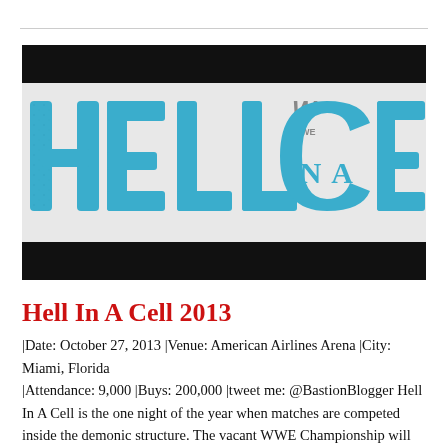[Figure (logo): WWE Hell In A Cell logo — large blue distressed block letters spelling HELL IN A CELL with the WWE logo in grey above the 'IN A', on a light grey background between two thick black horizontal bars]
Hell In A Cell 2013
|Date: October 27, 2013 |Venue: American Airlines Arena |City: Miami, Florida |Attendance: 9,000 |Buys: 200,000 |tweet me: @BastionBlogger Hell In A Cell is the one night of the year when matches are competed inside the demonic structure. The vacant WWE Championship will